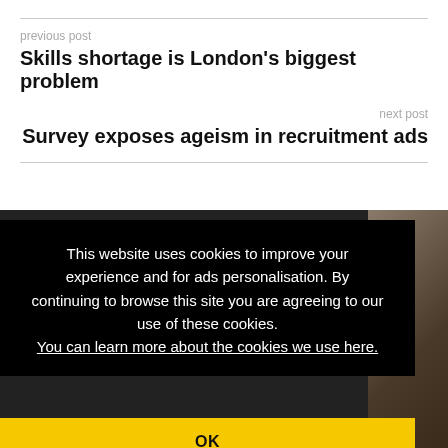previous post
Skills shortage is London's biggest problem
next post
Survey exposes ageism in recruitment ads
[Figure (photo): Dark background with partial photo visible on right side showing a person]
This website uses cookies to improve your experience and for ads personalisation. By continuing to browse this site you are agreeing to our use of these cookies. You can learn more about the cookies we use here.